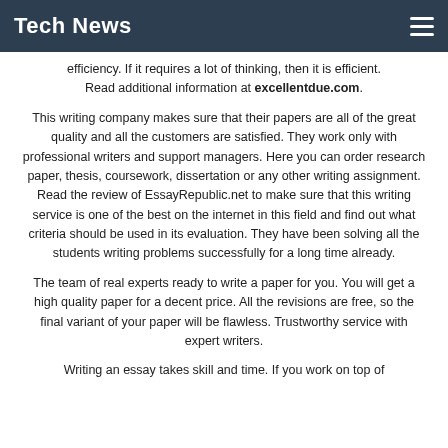Tech News
efficiency. If it requires a lot of thinking, then it is efficient. Read additional information at excellentdue.com.
This writing company makes sure that their papers are all of the great quality and all the customers are satisfied. They work only with professional writers and support managers. Here you can order research paper, thesis, coursework, dissertation or any other writing assignment. Read the review of EssayRepublic.net to make sure that this writing service is one of the best on the internet in this field and find out what criteria should be used in its evaluation. They have been solving all the students writing problems successfully for a long time already.
The team of real experts ready to write a paper for you. You will get a high quality paper for a decent price. All the revisions are free, so the final variant of your paper will be flawless. Trustworthy service with expert writers.
Writing an essay takes skill and time. If you work on top of